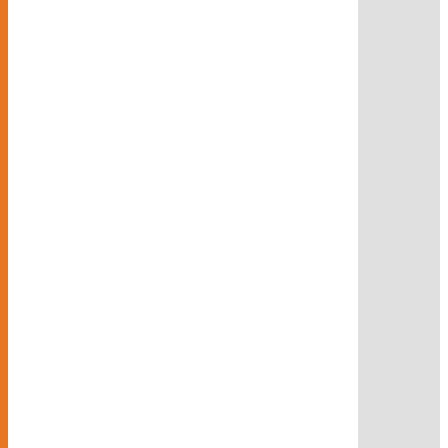| No. | Date | Title |
| --- | --- | --- |
| 688. | 05/08/2016 | Answer Key... |
| 689. | 05/08/2016 | Question Bo... |
| 690. | 04/08/2016 | Answer Key... |
| 691. | 04/08/2016 | Question Bo... Business Ma... Education, L... |
| 692. | 04/08/2016 | Question Bo... |
| 693. | 04/08/2016 | Question Bo... |
| 694. | 04/08/2016 | Question Bo... Engineering)... |
| 695. | 03/08/2016 | Re-Examina... Courses) Jo... |
| 696. | 03/08/2016 | Re-Examina... Journalism-A... |
| 697. | 03/08/2016 | WITHDRAW... LL.M.-2nd S... |
| 698. | 02/08/2016 | Re-Examina... Family Law (... |
| 699. | 27/07/2016 | Paragraph 9... SYNDICATE... |
| 700. | 26/07/2016 | RE-EXAMIN... |